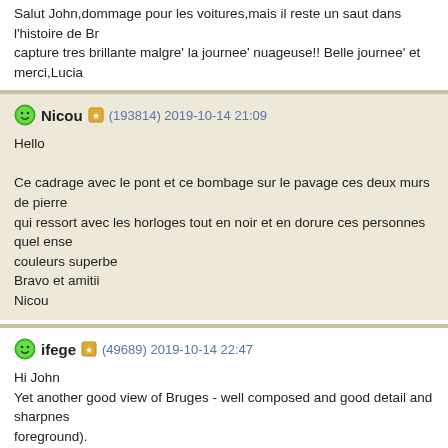Salut John,dommage pour les voitures,mais il reste un saut dans l'histoire de B... capture tres brillante malgre' la journee' nuageuse!! Belle journee' et merci,Lucia...
Nicou (193814) 2019-10-14 21:09

Hello

Ce cadrage avec le pont et ce bombage sur le pavage ces deux murs de pierre qui ressort avec les horloges tout en noir et en dorure ces personnes quel ense couleurs superbe
Bravo et amitii
Nicou
ifege (49689) 2019-10-14 22:47

Hi John
Yet another good view of Bruges - well composed and good detail and sharpnes foreground).
cheers
Ian
papagolf21 (152607) 2019-10-14 23:23